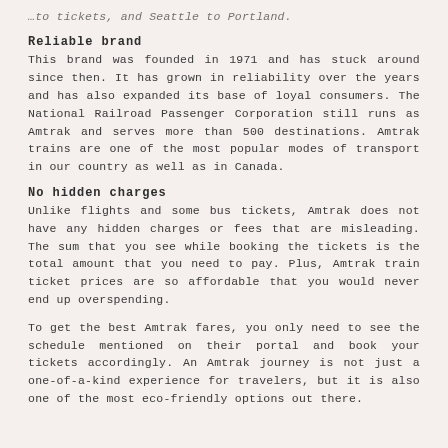…to tickets, and Seattle to Portland.
Reliable brand
This brand was founded in 1971 and has stuck around since then. It has grown in reliability over the years and has also expanded its base of loyal consumers. The National Railroad Passenger Corporation still runs as Amtrak and serves more than 500 destinations. Amtrak trains are one of the most popular modes of transport in our country as well as in Canada.
No hidden charges
Unlike flights and some bus tickets, Amtrak does not have any hidden charges or fees that are misleading. The sum that you see while booking the tickets is the total amount that you need to pay. Plus, Amtrak train ticket prices are so affordable that you would never end up overspending.
To get the best Amtrak fares, you only need to see the schedule mentioned on their portal and book your tickets accordingly. An Amtrak journey is not just a one-of-a-kind experience for travelers, but it is also one of the most eco-friendly options out there.